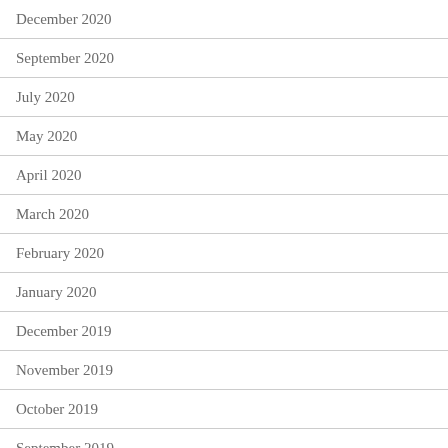December 2020
September 2020
July 2020
May 2020
April 2020
March 2020
February 2020
January 2020
December 2019
November 2019
October 2019
September 2019
August 2019